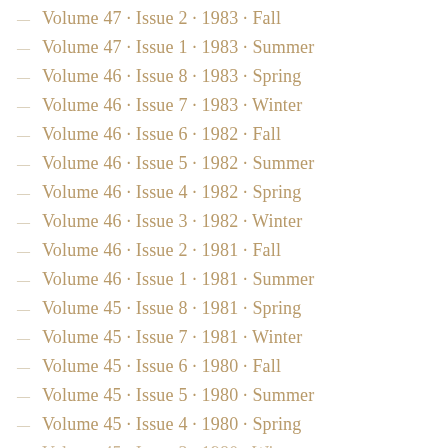Volume 47 · Issue 2 · 1983 · Fall
Volume 47 · Issue 1 · 1983 · Summer
Volume 46 · Issue 8 · 1983 · Spring
Volume 46 · Issue 7 · 1983 · Winter
Volume 46 · Issue 6 · 1982 · Fall
Volume 46 · Issue 5 · 1982 · Summer
Volume 46 · Issue 4 · 1982 · Spring
Volume 46 · Issue 3 · 1982 · Winter
Volume 46 · Issue 2 · 1981 · Fall
Volume 46 · Issue 1 · 1981 · Summer
Volume 45 · Issue 8 · 1981 · Spring
Volume 45 · Issue 7 · 1981 · Winter
Volume 45 · Issue 6 · 1980 · Fall
Volume 45 · Issue 5 · 1980 · Summer
Volume 45 · Issue 4 · 1980 · Spring
Volume 45 · Issue 3 · 1980 · Winter